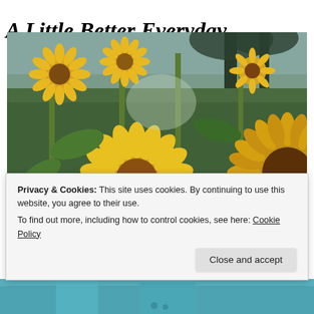A Little Better Everyday
[Figure (photo): A person peeking through a sunflower field with large yellow sunflowers in the foreground, green foliage and palm trees in the background]
Privacy & Cookies: This site uses cookies. By continuing to use this website, you agree to their use.
To find out more, including how to control cookies, see here: Cookie Policy
Close and accept
[Figure (photo): Bottom portion of another photo showing a person in teal/turquoise clothing, partially visible at the bottom of the page]